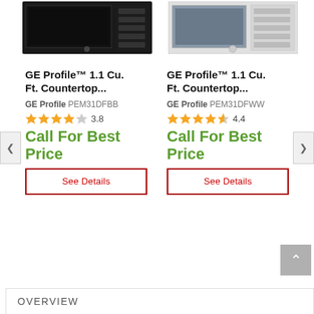[Figure (photo): Black GE Profile countertop microwave product image]
[Figure (photo): White GE Profile countertop microwave product image]
GE Profile™ 1.1 Cu. Ft. Countertop...
GE Profile PEM31DFBB
3.8 stars rating
Call For Best Price
See Details
GE Profile™ 1.1 Cu. Ft. Countertop...
GE Profile PEM31DFWW
4.4 stars rating
Call For Best Price
See Details
OVERVIEW